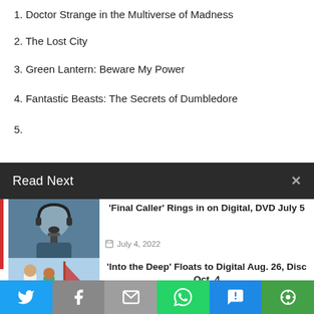1. Doctor Strange in the Multiverse of Madness
2. The Lost City
3. Green Lantern: Beware My Power
4. Fantastic Beasts: The Secrets of Dumbledore
5. [partially obscured by Read Next bar]
Read Next
[Figure (photo): Man with headphones speaking into a microphone]
'Final Caller' Rings in on Digital, DVD July 5
July 4, 2022
[Figure (photo): Two people on a boat, man and woman in casual clothing near water]
'Into the Deep' Floats to Digital Aug. 26, Disc Oct. 4
August 21, 2022
Twitter | Facebook | Email | WhatsApp | SMS | More